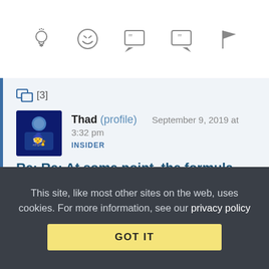[Figure (other): Icon toolbar with 5 icons: lightbulb, laughing face emoji, open-quote speech bubble, close-quote speech bubble, and flag]
[3]
[Figure (photo): Avatar image of user Thad - dark blue background with cartoon wizard/character]
Thad (profile)   September 9, 2019 at 3:32 pm
INSIDER
Re: Re: At some point, the formula will fail.
I think subscribers quitting is a much bigger threat to the cable TV side of the business than the broadband internet side.
Collapse replies (1) | Reply | View in chronology
This site, like most other sites on the web, uses cookies. For more information, see our privacy policy
GOT IT